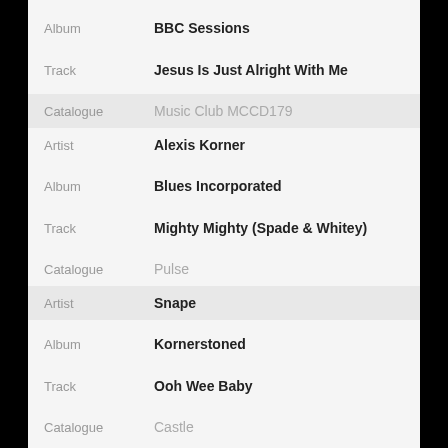| Field | Value |
| --- | --- |
| Album | BBC Sessions |
| Track | Jesus Is Just Alright With Me |
| Catalogue | Music Club MCCD179 |
| Artist | Alexis Korner |
| Album | Blues Incorporated |
| Track | Mighty Mighty (Spade & Whitey) |
| Catalogue | Pulse |
| Artist | Snape |
| Album | Kornerstoned |
| Track | Ooh Wee Baby |
| Catalogue | Castle |
| Artist | Little Richard |